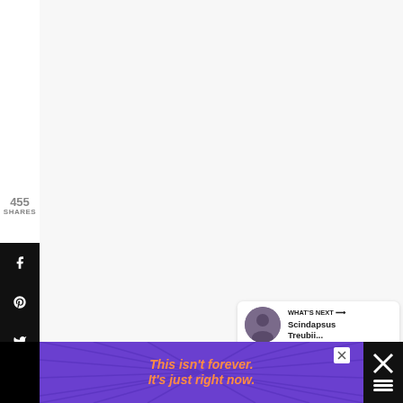[Figure (screenshot): Social media share sidebar with Facebook, Pinterest, Twitter, Email, and Print icons on black background. Share count shows 455 SHARES above the icons.]
455
SHARES
[Figure (infographic): What's Next card showing a circular profile photo and text 'WHAT'S NEXT → Scindapsus Treubii...']
WHAT'S NEXT → Scindapsus Treubii...
[Figure (screenshot): Advertisement banner with purple background and ray lines. Orange italic text reads: This isn't forever. It's just right now. Close button visible. Dark right panel with X icon.]
This isn't forever. It's just right now.